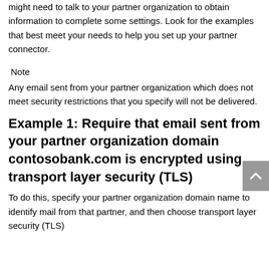might need to talk to your partner organization to obtain information to complete some settings. Look for the examples that best meet your needs to help you set up your partner connector.
Note
Any email sent from your partner organization which does not meet security restrictions that you specify will not be delivered.
Example 1: Require that email sent from your partner organization domain contosobank.com is encrypted using transport layer security (TLS)
To do this, specify your partner organization domain name to identify mail from that partner, and then choose transport layer security (TLS)